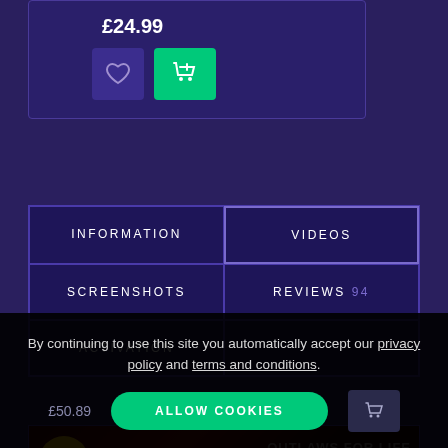£24.99
[Figure (screenshot): Wishlist (heart) button and add-to-cart (cart+) button]
INFORMATION
VIDEOS
SCREENSHOTS
REVIEWS 94
ACTIVATION
[Figure (screenshot): Red Dead Redemption 2 Launch video thumbnail with Rockstar logo and red background]
By continuing to use this site you automatically accept our privacy policy and terms and conditions.
ALLOW COOKIES
£50.89